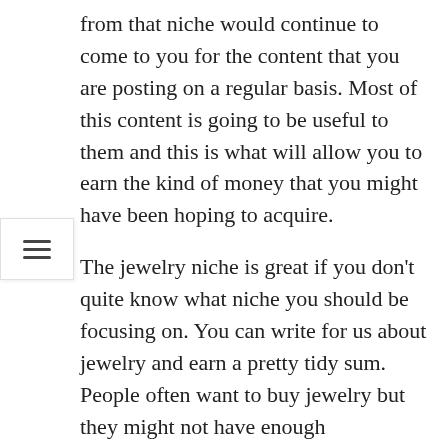from that niche would continue to come to you for the content that you are posting on a regular basis. Most of this content is going to be useful to them and this is what will allow you to earn the kind of money that you might have been hoping to acquire.
The jewelry niche is great if you don't quite know what niche you should be focusing on. You can write for us about jewelry and earn a pretty tidy sum. People often want to buy jewelry but they might not have enough information to make the purchases as easy as they would like. Hence, most of the time when you look into jewelry related content you are going to have the benefit of an audience that is eager for your content and will probably share it around.